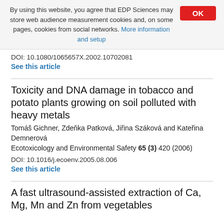By using this website, you agree that EDP Sciences may store web audience measurement cookies and, on some pages, cookies from social networks. More information and setup
DOI: 10.1080/1065657X.2002.10702081
See this article
Toxicity and DNA damage in tobacco and potato plants growing on soil polluted with heavy metals
Tomáš Gichner, Zdeňka Patková, Jiřina Száková and Kateřina Demnerová
Ecotoxicology and Environmental Safety 65 (3) 420 (2006)
DOI: 10.1016/j.ecoenv.2005.08.006
See this article
A fast ultrasound-assisted extraction of Ca, Mg, Mn and Zn from vegetables